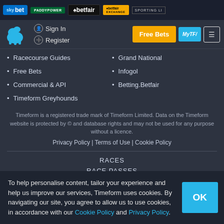[Figure (logo): Top banner with betting brand logos: Sky Bet, Paddy Power, Betfair, Betfair Exchange, Sporting Life]
[Figure (logo): Timeform navigation header with horse logo, Sign In, Register, Free Bets button, MyTF button, menu button]
Racecourse Guides
Free Bets
Commercial & API
Timeform Greyhounds
Grand National
Infogol
Betting.Betfair
Timeform is a registered trade mark of Timeform Limited. Data on the Timeform website is protected by © and database rights and may not be used for any purpose without a licence.
Privacy Policy | Terms of Use | Cookie Policy
RACES
RACE PASSES
RACE CARDS
To help personalise content, tailor your experience and help us improve our services, Timeform uses cookies. By navigating our site, you agree to allow us to use cookies, in accordance with our Cookie Policy and Privacy Policy.